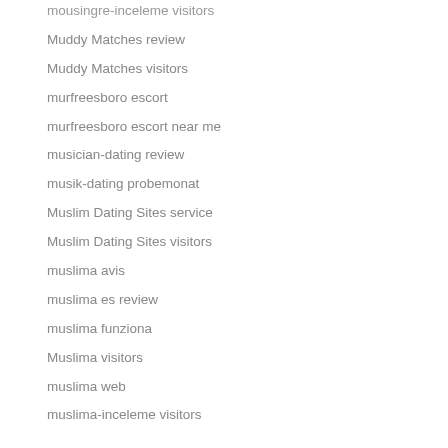mousingre-inceleme visitors
Muddy Matches review
Muddy Matches visitors
murfreesboro escort
murfreesboro escort near me
musician-dating review
musik-dating probemonat
Muslim Dating Sites service
Muslim Dating Sites visitors
muslima avis
muslima es review
muslima funziona
Muslima visitors
muslima web
muslima-inceleme visitors